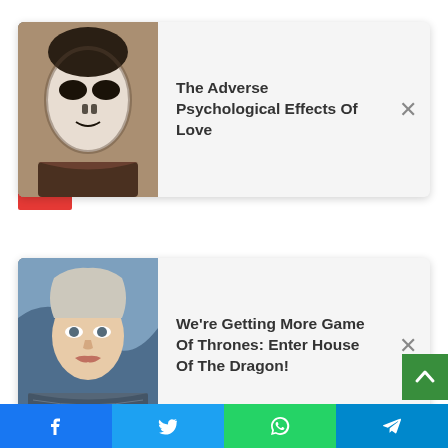[Figure (screenshot): Notification card 1: article titled 'The Adverse Psychological Effects Of Love' with a thumbnail of a pale-faced figure]
The Adverse Psychological Effects Of Love
[Figure (screenshot): Notification card 2: article titled 'We’re Getting More Game Of Thrones: Enter House Of The Dragon!' with a thumbnail of a blonde woman (Daenerys Targaryen style)]
We’re Getting More Game Of Thrones: Enter House Of The Dragon!